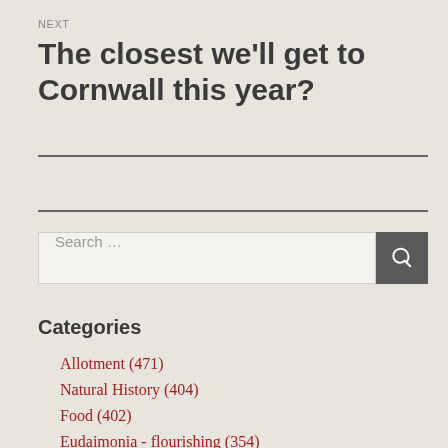NEXT
The closest we'll get to Cornwall this year?
Search …
Categories
Allotment (471)
Natural History (404)
Food (402)
Eudaimonia - flourishing (354)
About the Potwell Inn (248)